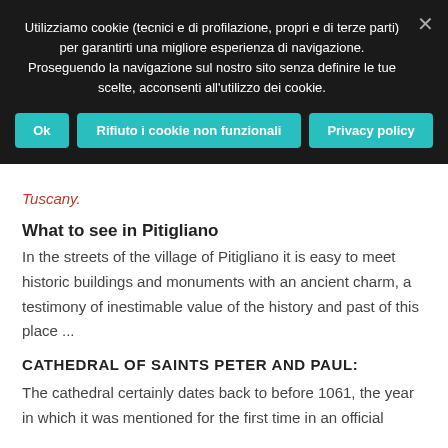Utilizziamo cookie (tecnici e di profilazione, propri e di terze parti) per garantirti una migliore esperienza di navigazione. Proseguendo la navigazione sul nostro sito senza definire le tue scelte, acconsenti all'utilizzo dei cookie.
Ok | Rifiuto i cookie non funzionali | Privacy policy
Tuscany.
What to see in Pitigliano
In the streets of the village of Pitigliano it is easy to meet historic buildings and monuments with an ancient charm, a testimony of inestimable value of the history and past of this place ...
CATHEDRAL OF SAINTS PETER AND PAUL:
The cathedral certainly dates back to before 1061, the year in which it was mentioned for the first time in an official